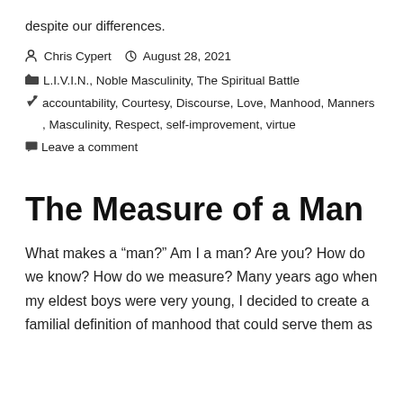despite our differences.
Chris Cypert  August 28, 2021
L.I.V.I.N., Noble Masculinity, The Spiritual Battle
accountability, Courtesy, Discourse, Love, Manhood, Manners, Masculinity, Respect, self-improvement, virtue
Leave a comment
The Measure of a Man
What makes a “man?” Am I a man? Are you? How do we know? How do we measure? Many years ago when my eldest boys were very young, I decided to create a familial definition of manhood that could serve them as